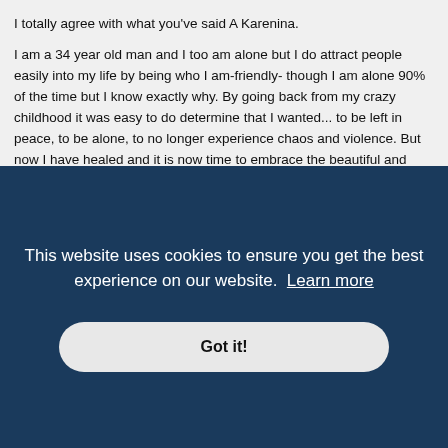I totally agree with what you've said A Karenina.

I am a 34 year old man and I too am alone but I do attract people easily into my life by being who I am-friendly- though I am alone 90% of the time but I know exactly why. By going back from my crazy childhood it was easy to do determine that I wanted... to be left in peace, to be alone, to no longer experience chaos and violence. But now I have healed and it is now time to embrace the beautiful and sincere people out there. Hope everyone find out EXACTLY why are they alone...focus on what you REALLY want rather than what you DON'T and I can assure you, all will be very well.
rajakrsna
This website uses cookies to ensure you get the best experience on our website. Learn more
Got it!